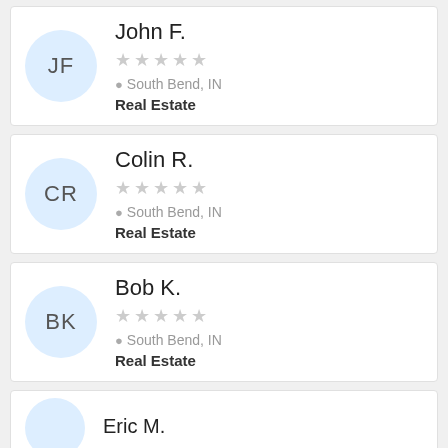JF John F. ★★★★★ South Bend, IN Real Estate
CR Colin R. ★★★★★ South Bend, IN Real Estate
BK Bob K. ★★★★★ South Bend, IN Real Estate
Eric M.